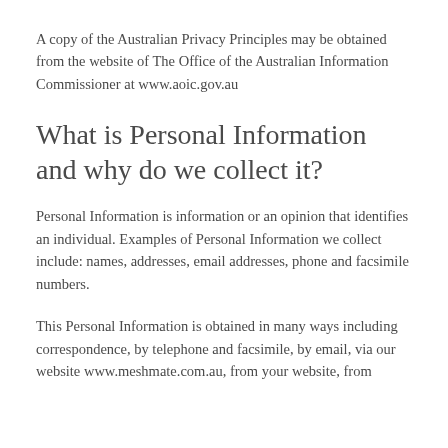A copy of the Australian Privacy Principles may be obtained from the website of The Office of the Australian Information Commissioner at www.aoic.gov.au
What is Personal Information and why do we collect it?
Personal Information is information or an opinion that identifies an individual. Examples of Personal Information we collect include: names, addresses, email addresses, phone and facsimile numbers.
This Personal Information is obtained in many ways including correspondence, by telephone and facsimile, by email, via our website www.meshmate.com.au, from your website, from